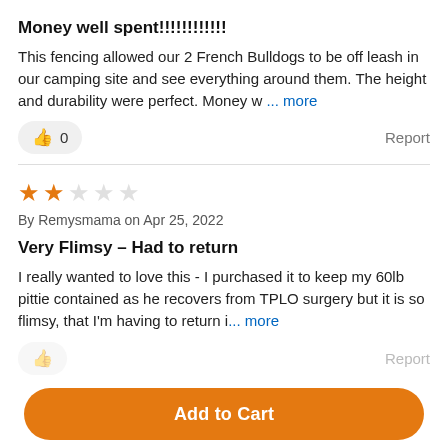Money well spent!!!!!!!!!!!
This fencing allowed our 2 French Bulldogs to be off leash in our camping site and see everything around them. The height and durability were perfect. Money w ... more
👍 0   Report
[Figure (other): 2 filled orange stars, 3 empty stars rating]
By Remysmama on Apr 25, 2022
Very Flimsy – Had to return
I really wanted to love this - I purchased it to keep my 60lb pittie contained as he recovers from TPLO surgery but it is so flimsy, that I'm having to return i... more
Report
Add to Cart